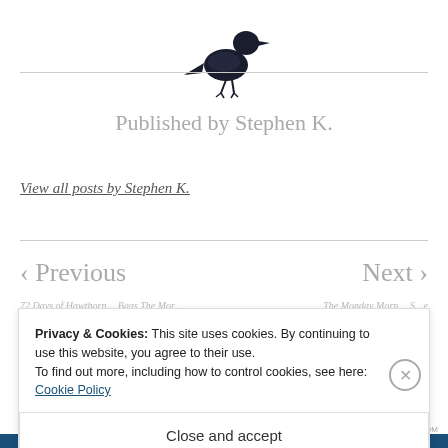[Figure (illustration): A black crow/raven bird standing, viewed from the side, rendered as a dark silhouette illustration]
Published by Stephen K.
View all posts by Stephen K.
< Previous
Next >
Privacy & Cookies: This site uses cookies. By continuing to use this website, you agree to their use.
To find out more, including how to control cookies, see here: Cookie Policy
Close and accept